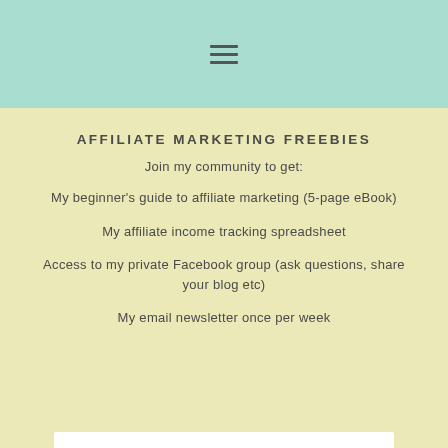≡
AFFILIATE MARKETING FREEBIES
Join my community to get:
My beginner's guide to affiliate marketing (5-page eBook)
My affiliate income tracking spreadsheet
Access to my private Facebook group (ask questions, share your blog etc)
My email newsletter once per week